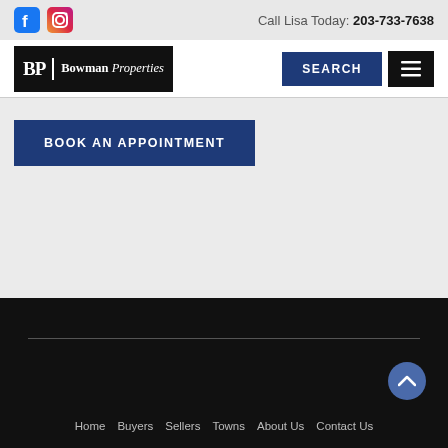Call Lisa Today: 203-733-7638
[Figure (logo): Bowman Properties logo with BP monogram on dark background]
SEARCH
BOOK AN APPOINTMENT
Home  Buyers  Sellers  Towns  About Us  Contact Us